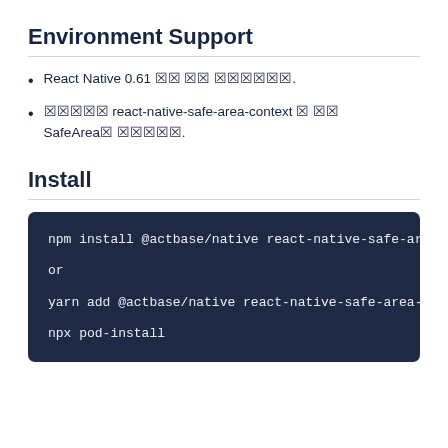Environment Support
React Native 0.61 以上 が 必要です.
インストール react-native-safe-area-context と 共に SafeAreaを 使用します.
Install
npm install @actbase/native react-native-safe-ar

or

yarn add @actbase/native react-native-safe-area-

npx pod-install